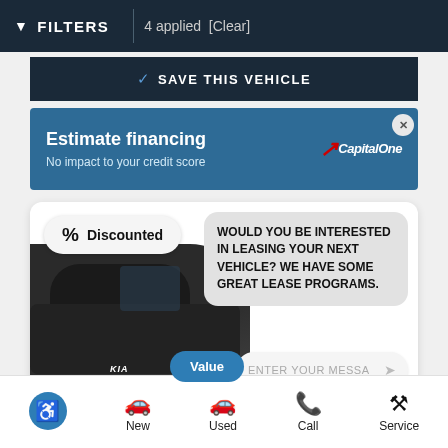FILTERS  4 applied  [Clear]
SAVE THIS VEHICLE
Estimate financing
No impact to your credit score
[Figure (logo): Capital One logo with red swoosh]
[Figure (screenshot): Car dealership widget showing Kia Royal logo, % Discounted pill, blurred car image, chat popup saying WOULD YOU BE INTERESTED IN LEASING YOUR NEXT VEHICLE? WE HAVE SOME GREAT LEASE PROGRAMS., Value button, and ENTER YOUR MESSA message input field]
New  Used  Call  Service